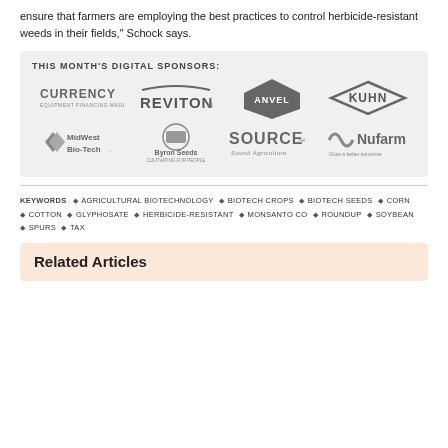ensure that farmers are employing the best practices to control herbicide-resistant weeds in their fields," Schock says.
[Figure (infographic): Sponsors box with label 'THIS MONTH'S DIGITAL SPONSORS:' and logos: CURRENCY, REVITON, ANVEL, KUHN, MidWest Bio-Tech, Byron Seeds, SOURCE Sound Agriculture, Nufarm]
KEYWORDS  AGRICULTURAL BIOTECHNOLOGY  BIOTECH CROPS  BIOTECH SEEDS  CORN  COTTON  GLYPHOSATE  HERBICIDE-RESISTANT  MONSANTO CO  ROUNDUP  SOYBEAN  SPURS  TAX
Related Articles